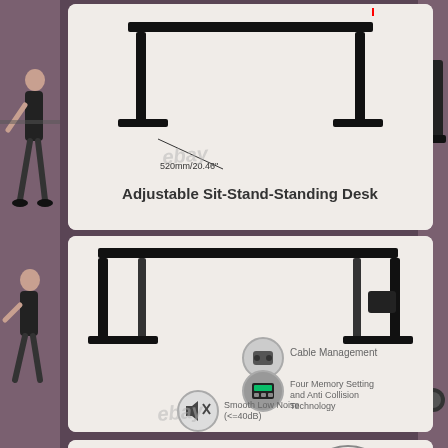[Figure (photo): Product listing page for an Adjustable Sit-Stand Standing Desk showing three panels: top panel with desk frame diagram and label 'Adjustable Sit-Stand-Standing Desk', middle panel showing desk frame with feature callouts (Cable Management, Four Memory Setting and Anti Collision Technology, Smooth Low Noise <=40dB), bottom panel showing close-up of desk mechanism. Left side shows a person using the desk. Right side shows partial desk foot. eBay watermark overlaid.]